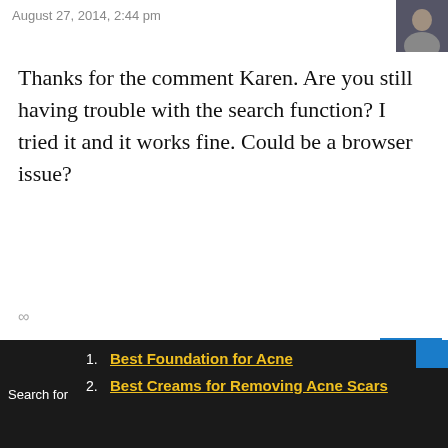August 27, 2014, 2:44 pm
Thanks for the comment Karen. Are you still having trouble with the search function? I tried it and it works fine. Could be a browser issue?
∞
Karen
September 9, 2014, 11:31 am
Yep; that's what the problem was. I switched browsers and all is well now. Thanks, Randy!
Search for
1. Best Foundation for Acne
2. Best Creams for Removing Acne Scars